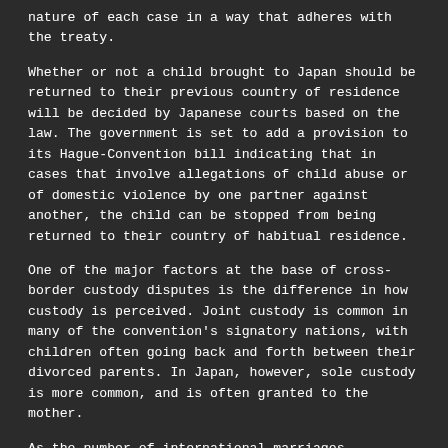nature of each case in a way that adheres with the treaty.
Whether or not a child brought to Japan should be returned to their previous country of residence will be decided by Japanese courts based on the law. The government is set to add a provision to its Hague-Convention bill indicating that in cases that involve allegations of child abuse or of domestic violence by one partner against another, the child can be stopped from being returned to their country of habitual residence.
One of the major factors at the base of cross-border custody disputes is the difference in how custody is perceived. Joint custody is common in many of the convention's signatory nations, with children often going back and forth between their divorced parents. In Japan, however, sole custody is more common, and is often granted to the mother.
As the number of international marriages continues to rise, we must think about what really constitutes our children's best interests.